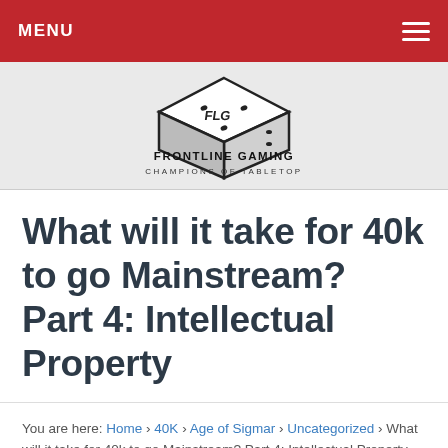MENU
[Figure (logo): Frontline Gaming logo — a stylized dice with FLG branding, text reads FRONTLINE GAMING CHAMPIONS OF TABLETOP]
What will it take for 40k to go Mainstream? Part 4: Intellectual Property
You are here: Home › 40K › Age of Sigmar › Uncategorized › What will it take for 40k to go Mainstream? Part 4: Intellectual Property